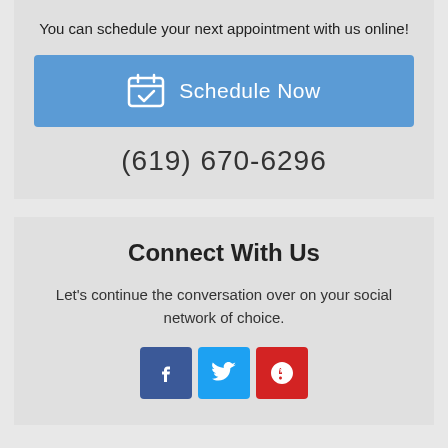You can schedule your next appointment with us online!
[Figure (infographic): Blue 'Schedule Now' button with a calendar checkbox icon]
(619) 670-6296
Connect With Us
Let's continue the conversation over on your social network of choice.
[Figure (infographic): Social media icons: Facebook (blue), Twitter (light blue), Yelp (red)]